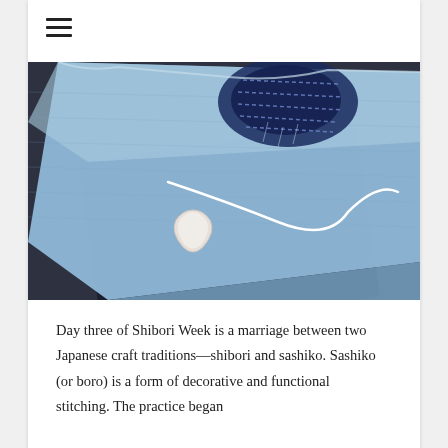[Figure (photo): Close-up photo of denim fabric with sashiko stitching and a triangular thimble on dark woven cloth background]
Day three of Shibori Week is a marriage between two Japanese craft traditions—shibori and sashiko. Sashiko (or boro) is a form of decorative and functional stitching. The practice began